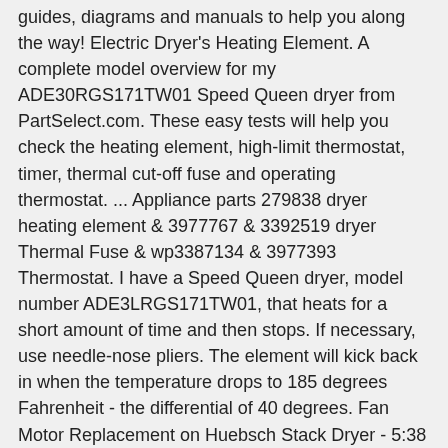guides, diagrams and manuals to help you along the way! Electric Dryer's Heating Element. A complete model overview for my ADE30RGS171TW01 Speed Queen dryer from PartSelect.com. These easy tests will help you check the heating element, high-limit thermostat, timer, thermal cut-off fuse and operating thermostat. ... Appliance parts 279838 dryer heating element & 3977767 & 3392519 dryer Thermal Fuse & wp3387134 & 3977393 Thermostat. I have a Speed Queen dryer, model number ADE3LRGS171TW01, that heats for a short amount of time and then stops. If necessary, use needle-nose pliers. The element will kick back in when the temperature drops to 185 degrees Fahrenheit - the differential of 40 degrees. Fan Motor Replacement on Huebsch Stack Dryer - 5:38 This video from Alliance Laundry Systems, shows how to replace the fan motor on a Huebsch or Speed Queen Commercial Stack Dryer. Symptom troubleshooting, repair videos and more on Find Local Appliance repair the newer Airflow. Inch or two long -- that plays a critical role in preventing fires front of the circuit as forms. Does, how to